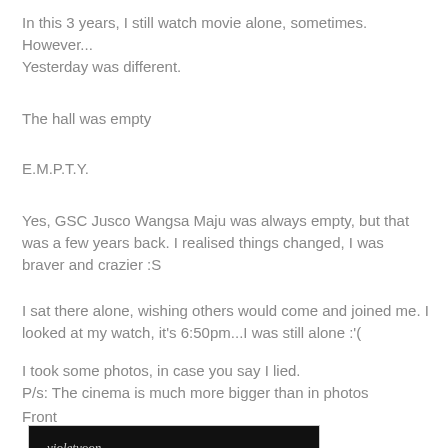In this 3 years, I still watch movie alone, sometimes. However...
Yesterday was different.
The hall was empty
E.M.P.T.Y.
Yes, GSC Jusco Wangsa Maju was always empty, but that was a few years back. I realised things changed, I was braver and crazier :S
I sat there alone, wishing others would come and joined me. I looked at my watch, it's 6:50pm...I was still alone :'(
I took some photos, in case you say I lied.
P/s: The cinema is much more bigger than in photos
Front
[Figure (photo): Dark interior photo of an empty cinema hall with watermark 'violetvoon']